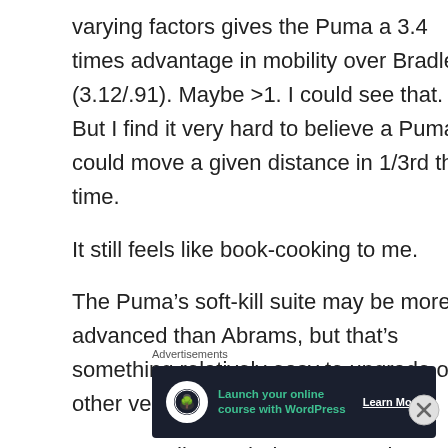varying factors gives the Puma a 3.4 times advantage in mobility over Bradley (3.12/.91). Maybe >1. I could see that. But I find it very hard to believe a Puma could move a given distance in 1/3rd the time.
It still feels like book-cooking to me.
The Puma’s soft-kill suite may be more advanced than Abrams, but that’s something relatively easy to upgrade on other vehicles.
Some Bradley and Abrams may be getting
Advertisements
[Figure (infographic): Advertisement banner: dark navy background with white circle icon containing a tree/person graphic, teal text 'Launch your online course with WordPress', and 'Learn More' button in white underlined text.]